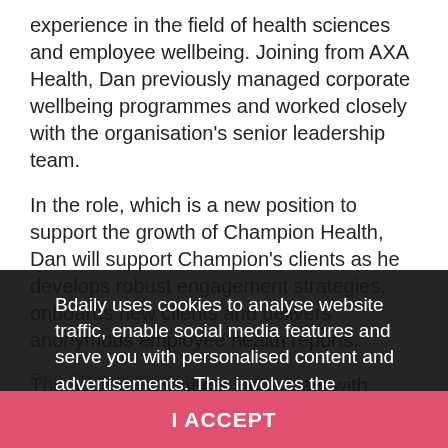experience in the field of health sciences and employee wellbeing. Joining from AXA Health, Dan previously managed corporate wellbeing programmes and worked closely with the organisation's senior leadership team.
In the role, which is a new position to support the growth of Champion Health, Dan will support Champion's clients as he develops robust engagement strategies, onboards new clients and delivers anonymous employee health reports.
The platform connects individuals with mental health and wellbeing solutions, providing access to world-leading ac... GP, please ...
Dan Craig comments:...
Bdaily uses cookies to analyse website traffic, enable social media features and serve you with personalised content and advertisements. This involves the processing of personal information including your IP address and browsing behaviour. For more information, please see our Cookies Policy
I ACCEPT